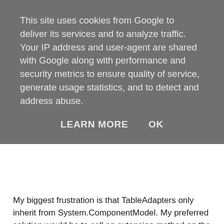This site uses cookies from Google to deliver its services and to analyze traffic. Your IP address and user-agent are shared with Google along with performance and security metrics to ensure quality of service, generate usage statistics, and to detect and address abuse.
LEARN MORE   OK
My biggest frustration is that TableAdapters only inherit from System.ComponentModel. My preferred solution would be to call an extension method on the tableadapter. If there were a common base class that that TableAdapter classes inherit from or a common interface they implement then it would probably be easier (although with the command collection not being exposed, I'd probably have to do something with reflection to find it)
These days I now avoid ORM Frameworks. In theory, they're great. In practice, they can cause headaches. My preferred solution is to use a wrapper (that we wrote ourselves) around ADO.NET to provide a things like mapping of results to classes that represent results (dealing with collections of